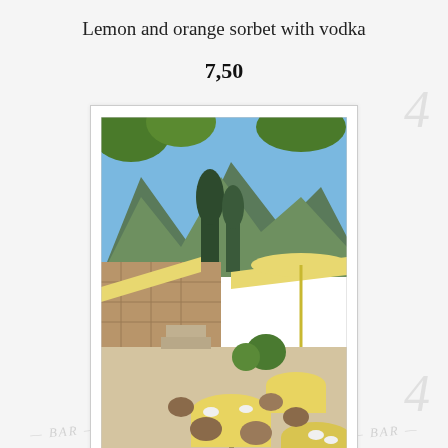Lemon and orange sorbet with vodka
7,50
[Figure (photo): Outdoor restaurant terrace with yellow tablecloths and umbrellas, stone walls, mountains and trees in background under blue sky.]